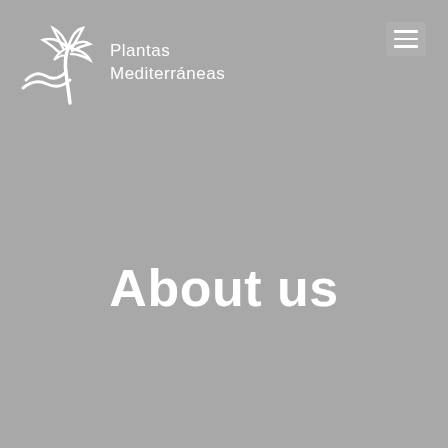[Figure (logo): Plantas Mediterráneas logo with palm tree and wave graphic in white, plus hamburger menu button in top right]
About us